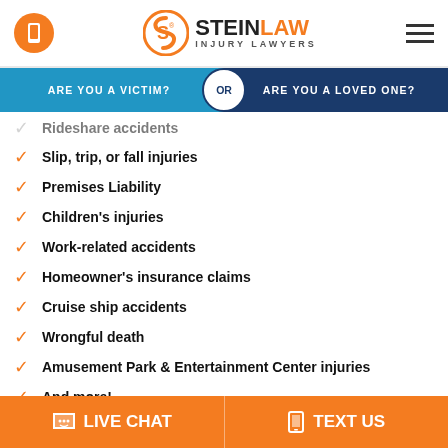Stein Law Injury Lawyers
ARE YOU A VICTIM? OR ARE YOU A LOVED ONE?
Rideshare accidents
Slip, trip, or fall injuries
Premises Liability
Children's injuries
Work-related accidents
Homeowner's insurance claims
Cruise ship accidents
Wrongful death
Amusement Park & Entertainment Center injuries
And more!
LIVE CHAT  TEXT US